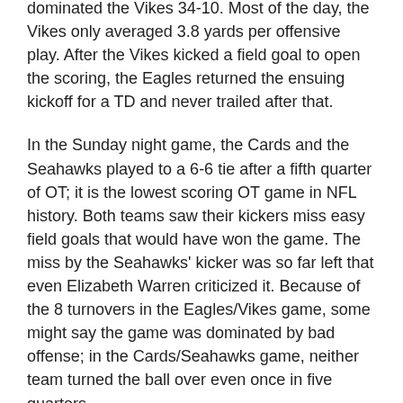dominated the Vikes 34-10. Most of the day, the Vikes only averaged 3.8 yards per offensive play. After the Vikes kicked a field goal to open the scoring, the Eagles returned the ensuing kickoff for a TD and never trailed after that.
In the Sunday night game, the Cards and the Seahawks played to a 6-6 tie after a fifth quarter of OT; it is the lowest scoring OT game in NFL history. Both teams saw their kickers miss easy field goals that would have won the game. The miss by the Seahawks' kicker was so far left that even Elizabeth Warren criticized it. Because of the 8 turnovers in the Eagles/Vikes game, some might say the game was dominated by bad offense; in the Cards/Seahawks game, neither team turned the ball over even once in five quarters.
The Cards had the ball 18 minutes longer than the Seahawks in the game, and over 100 more yards...